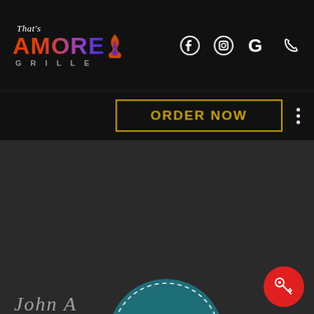[Figure (logo): That's Amore Grille logo with stylized text and flame icon, plus social media icons (Facebook, Instagram, Google, Phone) in the navigation bar]
[Figure (other): ORDER NOW button with gold border, and a three-dot menu icon]
[Figure (other): Circular teal badge with dashed border showing 'since 1997' text and a coffee bean icon, overlaid on a cursive signature reading 'John A...d']
[Figure (other): Red circular button with a key/guitar icon in the bottom right corner]